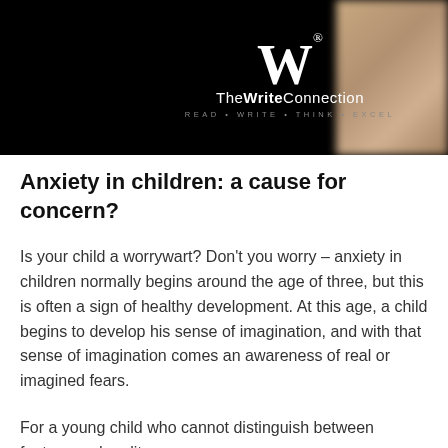The Write Connection — READ • WRITE • THINK • EXCEL
Anxiety in children: a cause for concern?
Is your child a worrywart? Don't you worry – anxiety in children normally begins around the age of three, but this is often a sign of healthy development. At this age, a child begins to develop his sense of imagination, and with that sense of imagination comes an awareness of real or imagined fears.
For a young child who cannot distinguish between fantasy and reality,